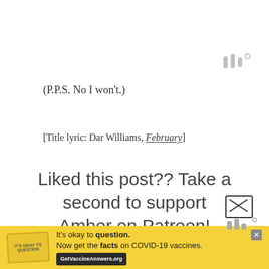[Figure (logo): Watermark or logo icon in gray, top right corner, looks like three vertical bars with a degree symbol]
(P.P.S. No I won't.)
[Title lyric: Dar Williams, February]
Liked this post?? Take a second to support Amber on Patreon!
[Figure (other): Patreon 'Become a Patron' button — orange/coral rectangle with Patreon logo (vertical bar and circle) and white bold text 'BECOME A PATRON']
[Figure (other): Yellow advertisement banner at bottom: badge on left, text 'It’s okay to question. Now get the facts on COVID-19 vaccines. GetVaccineAnswers.org', close button (X) top right]
[Figure (other): Small corner widget/icon bottom right, partially visible, dark border box with X symbol and bars icon]